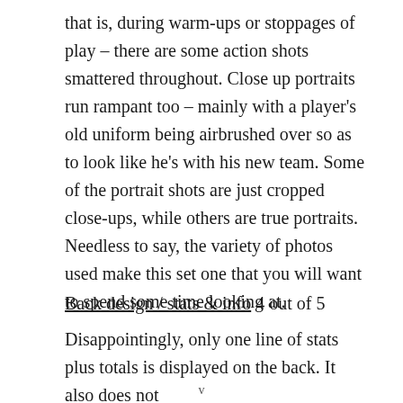that is, during warm-ups or stoppages of play – there are some action shots smattered throughout. Close up portraits run rampant too – mainly with a player's old uniform being airbrushed over so as to look like he's with his new team. Some of the portrait shots are just cropped close-ups, while others are true portraits. Needless to say, the variety of photos used make this set one that you will want to spend some time looking at.
Back design / stats & info 4 out of 5
Disappointingly, only one line of stats plus totals is displayed on the back. It also does not
v